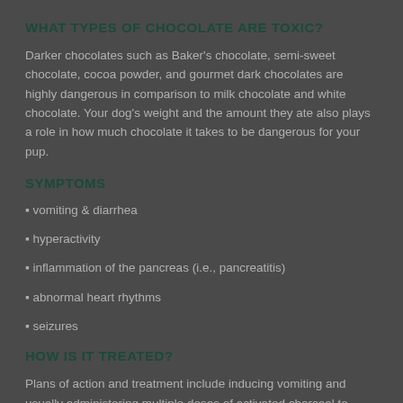WHAT TYPES OF CHOCOLATE ARE TOXIC?
Darker chocolates such as Baker's chocolate, semi-sweet chocolate, cocoa powder, and gourmet dark chocolates are highly dangerous in comparison to milk chocolate and white chocolate. Your dog's weight and the amount they ate also plays a role in how much chocolate it takes to be dangerous for your pup.
SYMPTOMS
vomiting & diarrhea
hyperactivity
inflammation of the pancreas (i.e., pancreatitis)
abnormal heart rhythms
seizures
HOW IS IT TREATED?
Plans of action and treatment include inducing vomiting and usually administering multiple doses of activated charcoal to